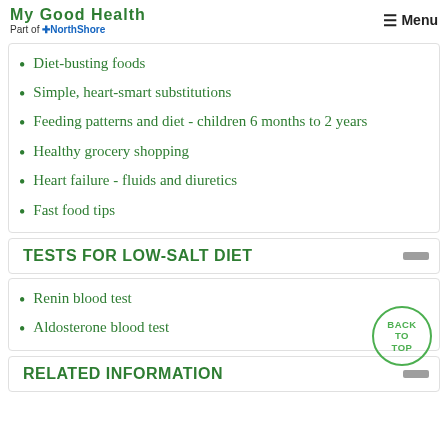Part of NorthShore | Menu
Diet-busting foods
Simple, heart-smart substitutions
Feeding patterns and diet - children 6 months to 2 years
Healthy grocery shopping
Heart failure - fluids and diuretics
Fast food tips
TESTS FOR LOW-SALT DIET
Renin blood test
Aldosterone blood test
RELATED INFORMATION